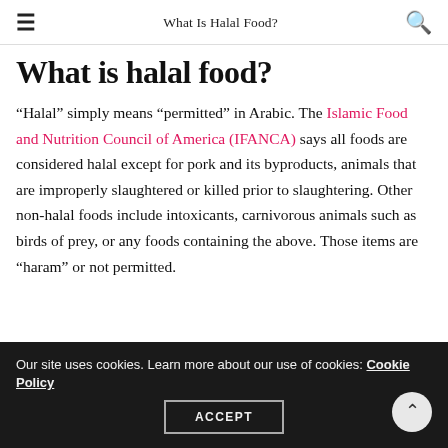What Is Halal Food?
What is halal food?
“Halal” simply means “permitted” in Arabic. The Islamic Food and Nutrition Council of America (IFANCA) says all foods are considered halal except for pork and its byproducts, animals that are improperly slaughtered or killed prior to slaughtering. Other non-halal foods include intoxicants, carnivorous animals such as birds of prey, or any foods containing the above. Those items are “haram” or not permitted.
Our site uses cookies. Learn more about our use of cookies: Cookie Policy
ACCEPT